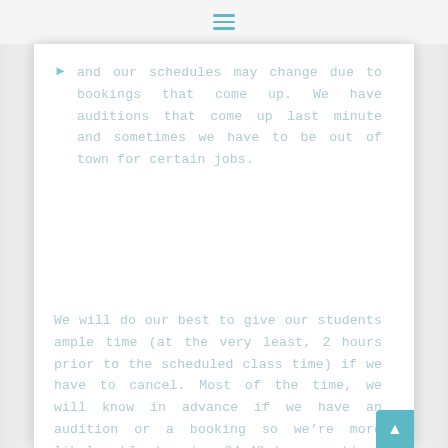and our schedules may change due to bookings that come up. We have auditions that come up last minute and sometimes we have to be out of town for certain jobs.
We will do our best to give our students ample time (at the very least, 2 hours prior to the scheduled class time) if we have to cancel. Most of the time, we will know in advance if we have an audition or a booking so we’re more likely able to give 24-48 hours notice. If we cancel, we will reschedule